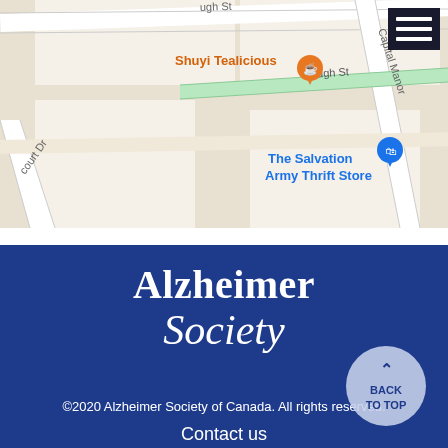[Figure (map): Google Maps screenshot showing street map with Shuyi Tealicious (orange pin) and The Salvation Army Thrift Store (blue pin), with streets including Pugh St, Capital Manor, and Court Dr visible.]
[Figure (logo): Alzheimer Society logo in white text on dark blue background. 'Alzheimer' in bold serif, 'Society' in italic serif below.]
©2020 Alzheimer Society of Canada. All rights reserved.
Contact us
Donate